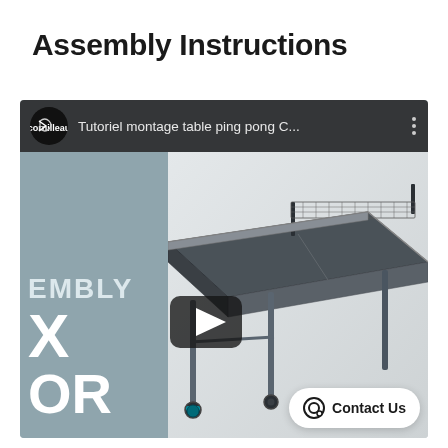Assembly Instructions
[Figure (screenshot): YouTube video thumbnail showing a Cornilleau table tennis table assembly tutorial. The thumbnail shows a gray ping pong table with net, wheels, and adjustable feet. The left side of the thumbnail shows the text 'EMBLY X OR' on a gray-blue panel. A YouTube play button is overlaid in the center. The video title reads: 'Tutoriel montage table ping pong C...']
Contact Us